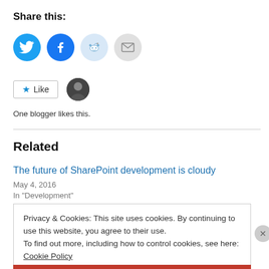Share this:
[Figure (other): Social sharing icons: Twitter (blue), Facebook (blue), Reddit (light blue), Email (gray)]
[Figure (other): Like button with star icon and blogger avatar photo]
One blogger likes this.
Related
The future of SharePoint development is cloudy
May 4, 2016
In "Development"
Privacy & Cookies: This site uses cookies. By continuing to use this website, you agree to their use.
To find out more, including how to control cookies, see here: Cookie Policy
Close and accept